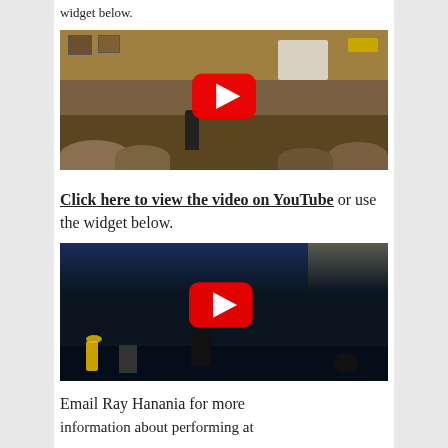widget below.
[Figure (photo): YouTube video thumbnail showing a person performing on a stage in a hall, with audience members visible in the foreground and a tent-like structure on stage. A red YouTube play button is overlaid in the center.]
Click here to view the video on YouTube or use the widget below.
[Figure (photo): YouTube video thumbnail showing a dark stage scene with a performer and what appears to be candles or decorations on the left. A red YouTube play button is overlaid in the center.]
Email Ray Hanania for more information about performing at